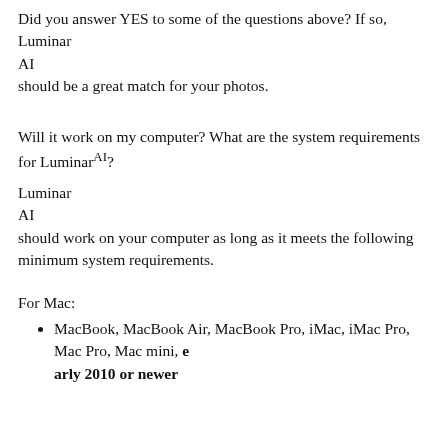Did you answer YES to some of the questions above? If so, Luminar AI should be a great match for your photos.
Will it work on my computer? What are the system requirements for LuminarAI?
Luminar AI should work on your computer as long as it meets the following minimum system requirements.
For Mac:
MacBook, MacBook Air, MacBook Pro, iMac, iMac Pro, Mac Pro, Mac mini, early 2010 or newer